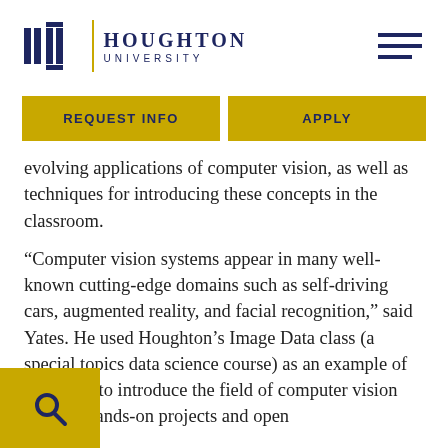[Figure (logo): Houghton University logo with stylized column icon, vertical gold divider, and university name in navy blue]
[Figure (other): Hamburger menu icon (three horizontal navy blue lines) in top right corner]
REQUEST INFO
APPLY
evolving applications of computer vision, as well as techniques for introducing these concepts in the classroom.
“Computer vision systems appear in many well-known cutting-edge domains such as self-driving cars, augmented reality, and facial recognition,” said Yates. He used Houghton’s Image Data class (a special topics data science course) as an example of strategies to introduce the field of computer vision through hands-on projects and open
[Figure (other): Gold square with navy blue magnifying glass search icon in bottom left corner]